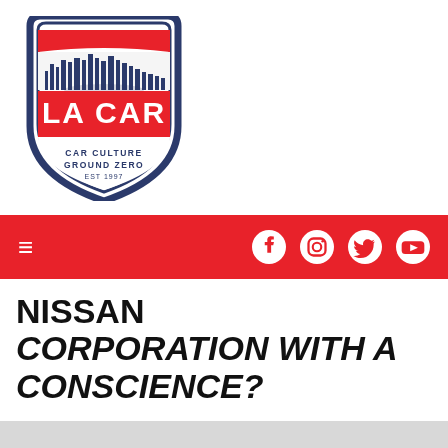[Figure (logo): LA CAR logo — shield shape with navy blue border and red accents. City skyline silhouette inside the shield, bold red text 'LA CAR' in the center, text 'CAR CULTURE GROUND ZERO EST 1997' at the bottom of the shield.]
[Figure (infographic): Red navigation bar with a hamburger menu icon on the left and social media icons (Facebook, Instagram, Twitter, YouTube) on the right in white.]
NISSAN CORPORATION WITH A CONSCIENCE?
This article is from our archives and has not been updated and integrated with our "new" site yet...